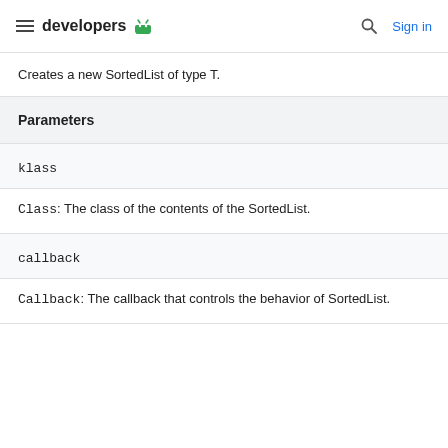developers  Sign in
Creates a new SortedList of type T.
Parameters
klass
Class: The class of the contents of the SortedList.
callback
Callback: The callback that controls the behavior of SortedList.